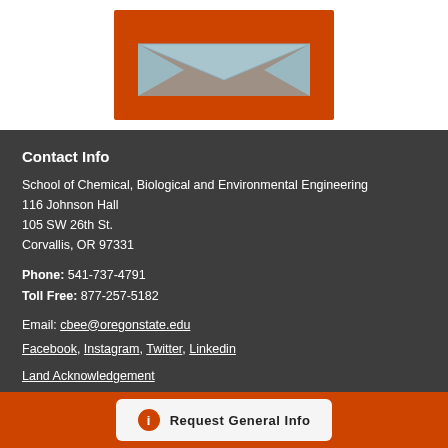[Figure (illustration): Email envelope icon with orange background]
Contact Info
School of Chemical, Biological and Environmental Engineering
116 Johnson Hall
105 SW 26th St.
Corvallis, OR 97331
Phone: 541-737-4791
Toll Free: 877-257-5182
Email: cbee@oregonstate.edu
Facebook, Instagram, Twitter, Linkedin
Land Acknowledgement
Request General Info